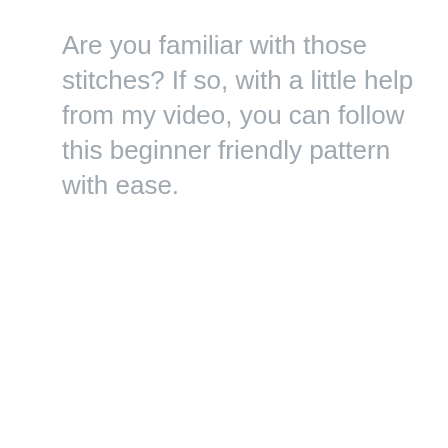Are you familiar with those stitches? If so, with a little help from my video, you can follow this beginner friendly pattern with ease.